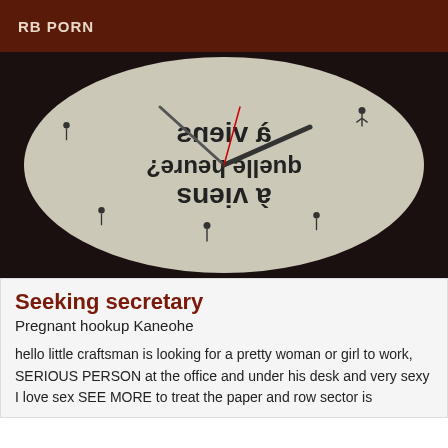RB PORN
[Figure (photo): A novelty clock face with pictogram figures in sexual positions replacing the hour markers, with mirrored/reversed French text 'à quelle heure? viens à' visible on the clock face. Clock hands are visible.]
Seeking secretary
Pregnant hookup Kaneohe
hello little craftsman is looking for a pretty woman or girl to work, SERIOUS PERSON at the office and under his desk and very sexy I love sex SEE MORE to treat the paper and row sector is